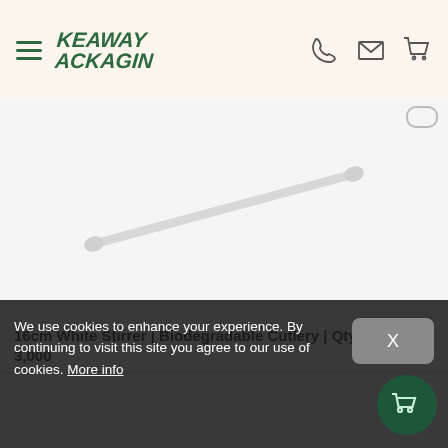Takeaway Packaging — navigation header with logo, phone, email, and cart icons
[Figure (photo): A white 16cm plastic coffee stirrer with rounded ends, photographed diagonally on a light grey background]
16cm White Stirrer | Biodegradable Cutlery | Qty: 3,000
We use cookies to enhance your experience. By continuing to visit this site you agree to our use of cookies. More info